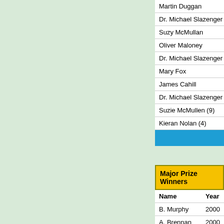| Name | Year |
| --- | --- |
| Martin Duggan | 20 |
| Dr. Michael Slazenger | 20 |
| Suzy McMullan | 20 |
| Oliver Maloney | 20 |
| Dr. Michael Slazenger | 20 |
| Mary Fox | 20 |
| James Cahill | 20 |
| Dr. Michael Slazenger | 20 |
| Suzie McMullen (9) | 20 |
| Kieran Nolan (4) | 20 |
| Name | Year |
| --- | --- |
| B. Murphy | 2000 |
| A. Brennan | 2000 |
| B. Evens | 2000 |
| Mrs. J. Evens | 2000 |
| R. A. Woods | 2000 |
| A. Burton | 2000 |